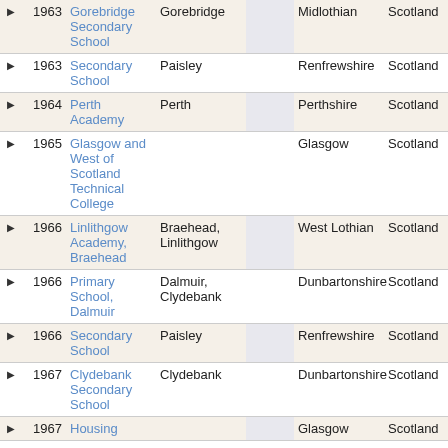|  | Year | Name | Location |  | County/Region | Country |
| --- | --- | --- | --- | --- | --- | --- |
| ▶ | 1963 | Gorebridge Secondary School | Gorebridge |  | Midlothian | Scotland |
| ▶ | 1963 | Secondary School | Paisley |  | Renfrewshire | Scotland |
| ▶ | 1964 | Perth Academy | Perth |  | Perthshire | Scotland |
| ▶ | 1965 | Glasgow and West of Scotland Technical College |  |  | Glasgow | Scotland |
| ▶ | 1966 | Linlithgow Academy, Braehead | Braehead, Linlithgow |  | West Lothian | Scotland |
| ▶ | 1966 | Primary School, Dalmuir | Dalmuir, Clydebank |  | Dunbartonshire | Scotland |
| ▶ | 1966 | Secondary School | Paisley |  | Renfrewshire | Scotland |
| ▶ | 1967 | Clydebank Secondary School | Clydebank |  | Dunbartonshire | Scotland |
| ▶ | 1967 | Housing |  |  | Glasgow | Scotland |